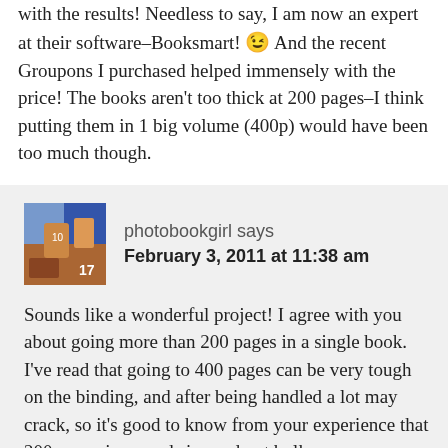with the results! Needless to say, I am now an expert at their software–Booksmart! 😉 And the recent Groupons I purchased helped immensely with the price! The books aren't too thick at 200 pages–I think putting them in 1 big volume (400p) would have been too much though.
photobookgirl says
February 3, 2011 at 11:38 am
Sounds like a wonderful project! I agree with you about going more than 200 pages in a single book. I've read that going to 400 pages can be very tough on the binding, and after being handled a lot may crack, so it's good to know from your experience that 200 pages is a good size and not bulky